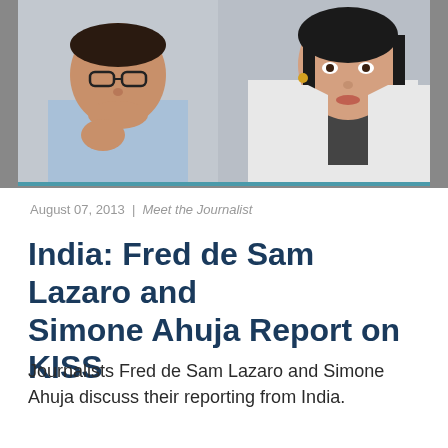[Figure (photo): Two journalists seated side by side: a man on the left wearing glasses and a light blue shirt, a woman on the right wearing a white blazer and dark top, in an office setting.]
August 07, 2013 | Meet the Journalist
India: Fred de Sam Lazaro and Simone Ahuja Report on KISS
Journalists Fred de Sam Lazaro and Simone Ahuja discuss their reporting from India.